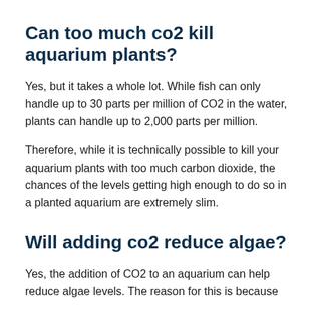Can too much co2 kill aquarium plants?
Yes, but it takes a whole lot. While fish can only handle up to 30 parts per million of CO2 in the water, plants can handle up to 2,000 parts per million.
Therefore, while it is technically possible to kill your aquarium plants with too much carbon dioxide, the chances of the levels getting high enough to do so in a planted aquarium are extremely slim.
Will adding co2 reduce algae?
Yes, the addition of CO2 to an aquarium can help reduce algae levels. The reason for this is because